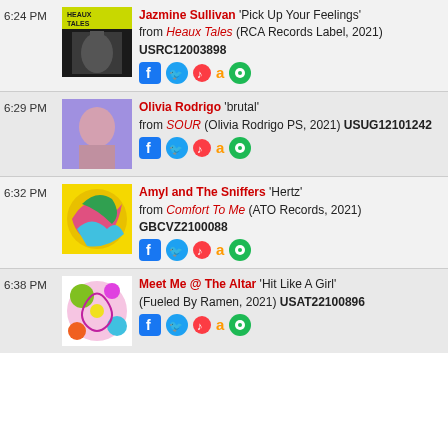6:24 PM — Jazmine Sullivan 'Pick Up Your Feelings' from Heaux Tales (RCA Records Label, 2021) USRC12003898
6:29 PM — Olivia Rodrigo 'brutal' from SOUR (Olivia Rodrigo PS, 2021) USUG12101242
6:32 PM — Amyl and The Sniffers 'Hertz' from Comfort To Me (ATO Records, 2021) GBCVZ2100088
6:38 PM — Meet Me @ The Altar 'Hit Like A Girl' (Fueled By Ramen, 2021) USAT22100896